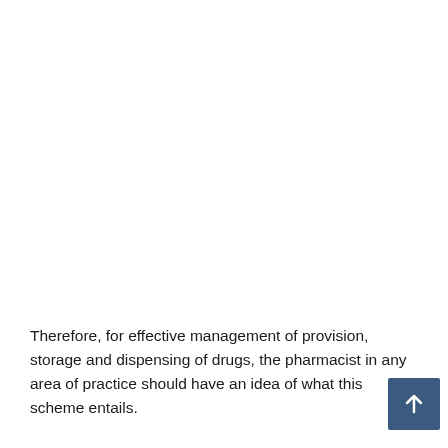Therefore, for effective management of provision, storage and dispensing of drugs, the pharmacist in any area of practice should have an idea of what this scheme entails.